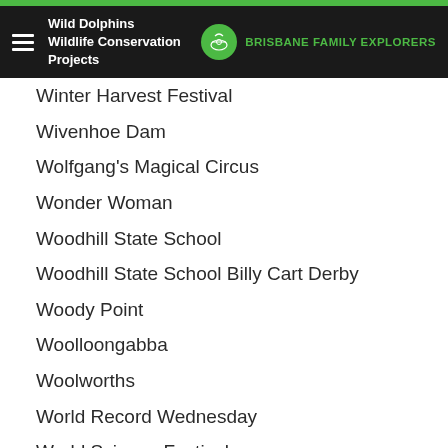Wild Dolphins | Wildlife Conservation Projects | Brisbane Family Explorers
Winter Harvest Festival
Wivenhoe Dam
Wolfgang's Magical Circus
Wonder Woman
Woodhill State School
Woodhill State School Billy Cart Derby
Woody Point
Woolloongabba
Woolworths
World Record Wednesday
World Science Festival
World War
Wynnum
Wynnum Plaza
Xmas
XRACE